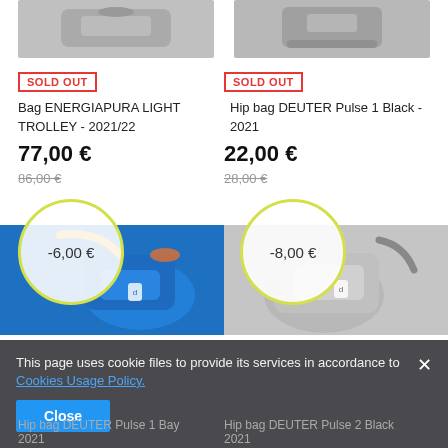[Figure (photo): Cropped top of two product images (bags) in gray tones]
SOLD OUT
SOLD OUT
Bag ENERGIAPURA LIGHT TROLLEY - 2021/22
Hip bag DEUTER Pulse 1 Black - 2021
77,00 €
22,00 €
86,00 €
28,00 €
-6,00 €
-8,00 €
[Figure (photo): Blue hip bag (DEUTER) partially visible]
[Figure (photo): Gray hip bag (DEUTER Pulse 2 Black) partially visible]
Hip bag DEUTER Pulse 1 Bay 2021
Hip bag DEUTER Pulse 2 Black 2021
This page uses cookie files to provide its services in accordance to
Cookies Usage Policy.
Close